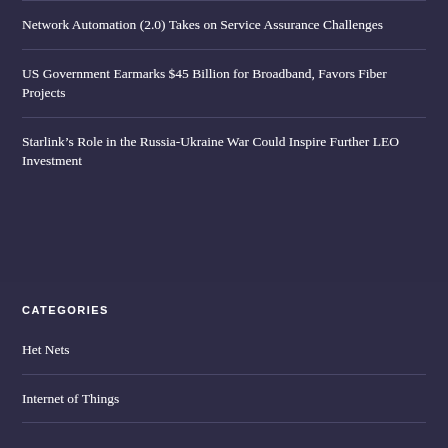Network Automation (2.0) Takes on Service Assurance Challenges
US Government Earmarks $45 Billion for Broadband, Favors Fiber Projects
Starlink’s Role in the Russia-Ukraine War Could Inspire Further LEO Investment
CATEGORIES
Het Nets
Internet of Things